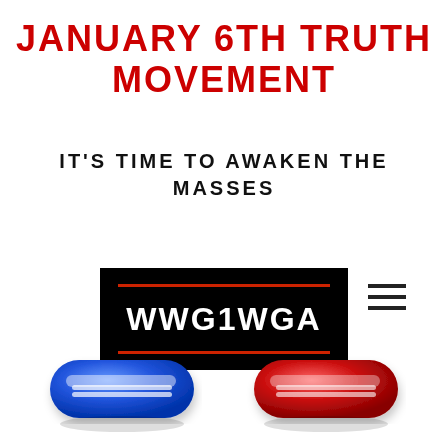JANUARY 6TH TRUTH MOVEMENT
IT'S TIME TO AWAKEN THE MASSES
[Figure (logo): Black rectangle banner with two red horizontal lines above and below the bold white text 'WWG1WGA']
[Figure (illustration): A blue pill capsule and a red pill capsule side by side on a white background]